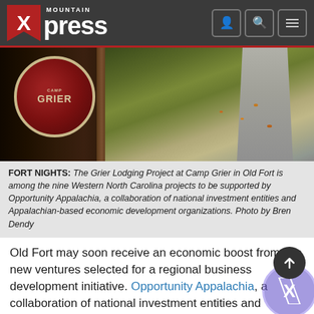Mountain Xpress
[Figure (photo): Outdoor photo of a Camp Grier wooden sign with a circular logo reading 'Camp Grier', mounted on posts, with a gravel path and green lawn visible in the background.]
FORT NIGHTS: The Grier Lodging Project at Camp Grier in Old Fort is among the nine Western North Carolina projects to be supported by Opportunity Appalachia, a collaboration of national investment entities and Appalachian-based economic development organizations. Photo by Bren Dendy
Old Fort may soon receive an economic boost from two new ventures selected for a regional business development initiative. Opportunity Appalachia, a collaboration of national investment entities and Appalachia-based economic development organizations such as Asheville-based Mountain BizWorks, announced